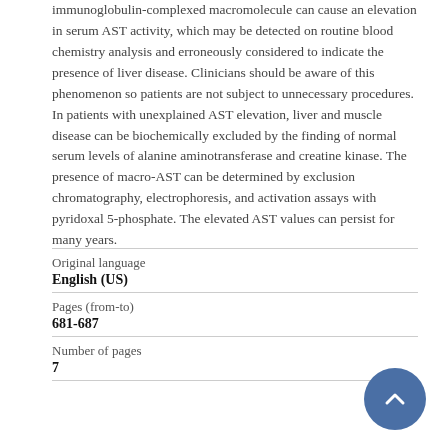immunoglobulin-complexed macromolecule can cause an elevation in serum AST activity, which may be detected on routine blood chemistry analysis and erroneously considered to indicate the presence of liver disease. Clinicians should be aware of this phenomenon so patients are not subject to unnecessary procedures. In patients with unexplained AST elevation, liver and muscle disease can be biochemically excluded by the finding of normal serum levels of alanine aminotransferase and creatine kinase. The presence of macro-AST can be determined by exclusion chromatography, electrophoresis, and activation assays with pyridoxal 5-phosphate. The elevated AST values can persist for many years.
| Original language | English (US) |
| Pages (from-to) | 681-687 |
| Number of pages | 7 |